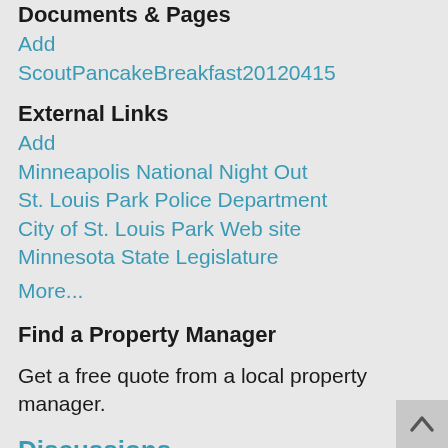Documents & Pages
Add
ScoutPancakeBreakfast20120415
External Links
Add
Minneapolis National Night Out
St. Louis Park Police Department
City of St. Louis Park Web site
Minnesota State Legislature
More...
Find a Property Manager
Get a free quote from a local property manager.
Discussions